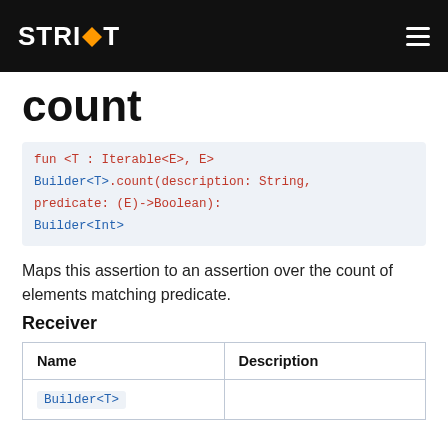STRIKT [logo]
count
Maps this assertion to an assertion over the count of elements matching predicate.
Receiver
| Name | Description |
| --- | --- |
| Builder<T> |  |